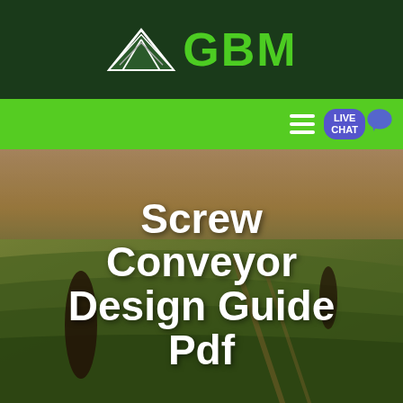GBM
[Figure (logo): GBM logo with mountain/arrow graphic and green GBM text on dark green background]
[Figure (screenshot): Green navigation bar with hamburger menu icon, LIVE CHAT badge and chat bubble widget]
Screw Conveyor Design Guide Pdf
Get a Quote
WhatsApp